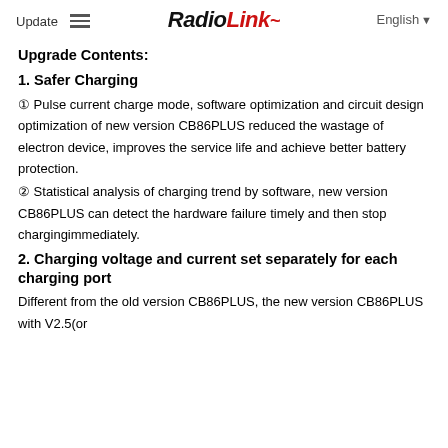Update  RadioLink  English
Upgrade Contents:
1. Safer Charging
① Pulse current charge mode, software optimization and circuit design optimization of new version CB86PLUS reduced the wastage of electron device, improves the service life and achieve better battery protection.
② Statistical analysis of charging trend by software, new version CB86PLUS can detect the hardware failure timely and then stop chargingimmediately.
2. Charging voltage and current set separately for each charging port
Different from the old version CB86PLUS, the new version CB86PLUS with V2.5(or